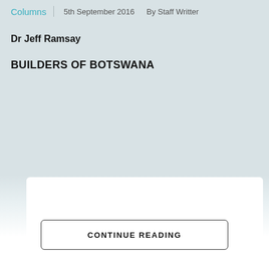Columns  |  5th September 2016  By Staff Writter
Dr Jeff Ramsay
BUILDERS OF BOTSWANA
CONTINUE READING